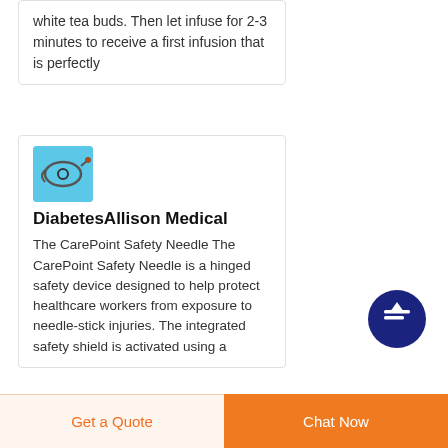white tea buds. Then let infuse for 2-3 minutes to receive a first infusion that is perfectly
[Figure (photo): Medical device photo - CarePoint Safety Needle on blue background]
DiabetesAllison Medical
The CarePoint Safety Needle The CarePoint Safety Needle is a hinged safety device designed to help protect healthcare workers from exposure to needle-stick injuries. The integrated safety shield is activated using a
[Figure (other): Scroll-to-top button: dark navy circle with upward pointing white arrow]
Get a Quote    Chat Now